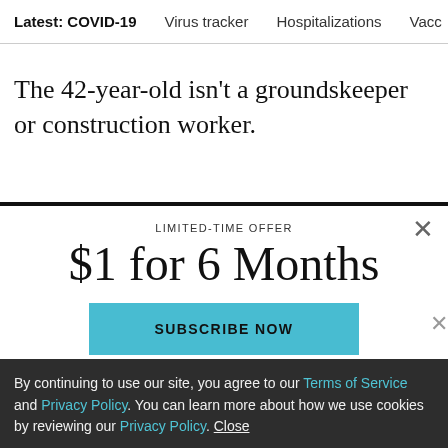Latest: COVID-19 | Virus tracker | Hospitalizations | Vacc
The 42-year-old isn't a groundskeeper or construction worker.
LIMITED-TIME OFFER
$1 for 6 Months
SUBSCRIBE NOW
By continuing to use our site, you agree to our Terms of Service and Privacy Policy. You can learn more about how we use cookies by reviewing our Privacy Policy. Close